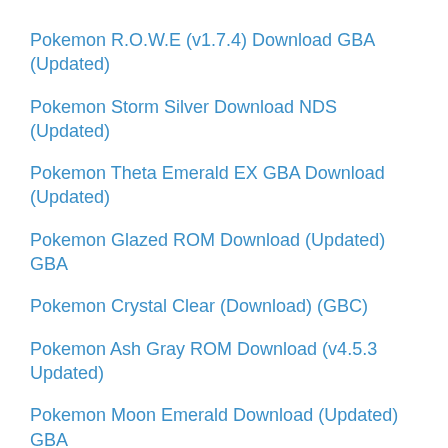Pokemon R.O.W.E (v1.7.4) Download GBA (Updated)
Pokemon Storm Silver Download NDS (Updated)
Pokemon Theta Emerald EX GBA Download (Updated)
Pokemon Glazed ROM Download (Updated) GBA
Pokemon Crystal Clear (Download) (GBC)
Pokemon Ash Gray ROM Download (v4.5.3 Updated)
Pokemon Moon Emerald Download (Updated) GBA
Pokemon Omega Ruby ROM Download (Updated)